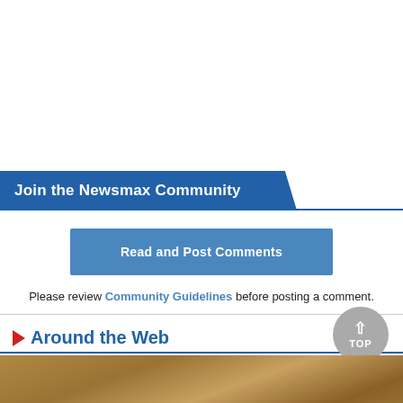Join the Newsmax Community
Read and Post Comments
Please review Community Guidelines before posting a comment.
Around the Web
[Figure (photo): Photo strip showing a sandy/earthy ground texture with partial view of a white object at bottom right]